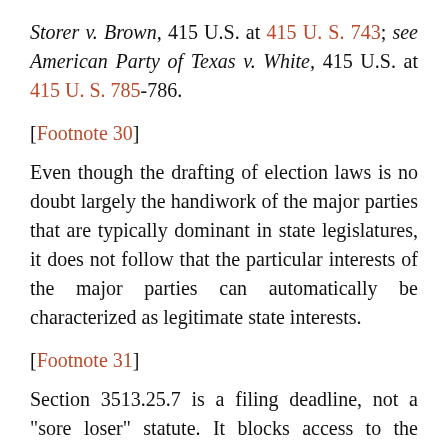Storer v. Brown, 415 U.S. at 415 U. S. 743; see American Party of Texas v. White, 415 U.S. at 415 U. S. 785-786.
[Footnote 30]
Even though the drafting of election laws is no doubt largely the handiwork of the major parties that are typically dominant in state legislatures, it does not follow that the particular interests of the major parties can automatically be characterized as legitimate state interests.
[Footnote 31]
Section 3513.25.7 is a filing deadline, not a "sore loser" statute. It blocks access to the general election ballot 75 days before the primary, at a time when, by definition, no candidate has yet lost the party primary. Ohio has a